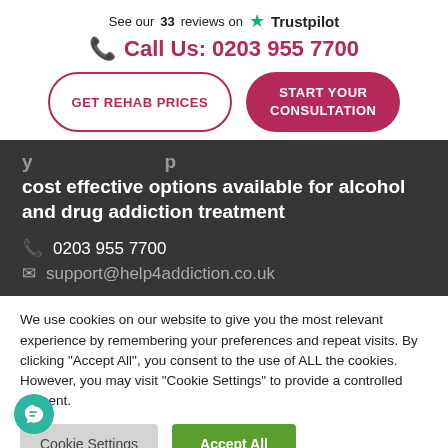See our 33 reviews on ★ Trustpilot
📞 Call Us: 0203 955 7700
GET REHAB PRICES | START YOUR CONSULTATION
...cost effective options available for alcohol and drug addiction treatment
📞 0203 955 7700
✉ support@help4addiction.co.uk
We use cookies on our website to give you the most relevant experience by remembering your preferences and repeat visits. By clicking "Accept All", you consent to the use of ALL the cookies. However, you may visit "Cookie Settings" to provide a controlled consent.
Cookie Settings | Accept All